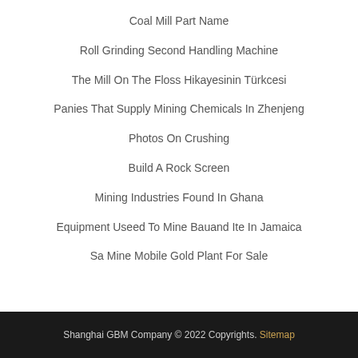Coal Mill Part Name
Roll Grinding Second Handling Machine
The Mill On The Floss Hikayesinin Türkcesi
Panies That Supply Mining Chemicals In Zhenjeng
Photos On Crushing
Build A Rock Screen
Mining Industries Found In Ghana
Equipment Useed To Mine Bauand Ite In Jamaica
Sa Mine Mobile Gold Plant For Sale
Shanghai GBM Company © 2022 Copyrights. Sitemap